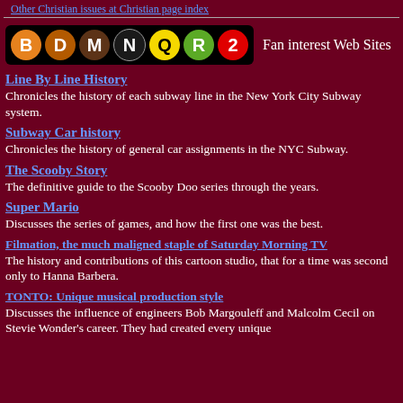Other Christian issues at Christian page index
[Figure (infographic): NYC Subway line icons: B (orange), D (dark orange), M (dark brown), N (black/outlined), Q (yellow), R (green), 2 (red) on black background, followed by 'Fan interest Web Sites' text]
Line By Line History
Chronicles the history of each subway line in the New York City Subway system.
Subway Car history
Chronicles the history of general car assignments in the NYC Subway.
The Scooby Story
The definitive guide to the Scooby Doo series through the years.
Super Mario
Discusses the series of games, and how the first one was the best.
Filmation, the much maligned staple of Saturday Morning TV
The history and contributions of this cartoon studio, that for a time was second only to Hanna Barbera.
TONTO: Unique musical production style
Discusses the influence of engineers Bob Margouleff and Malcolm Cecil on Stevie Wonder's career. They had created every unique